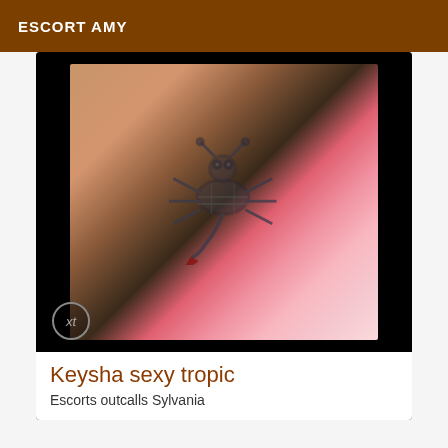ESCORT AMY
[Figure (photo): Close-up photo of a tattoo on skin, showing a stylized insect or scorpion-like tattoo design in dark ink on tan skin, with pink fabric visible in background.]
Keysha sexy tropic
Escorts outcalls Sylvania